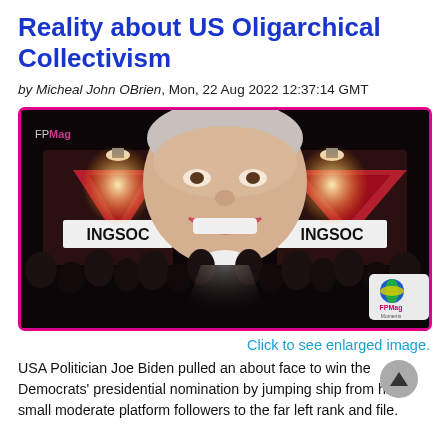Reality about US Oligarchical Collectivism
by Micheal John OBrien, Mon, 22 Aug 2022 12:37:14 GMT
[Figure (photo): Photomontage showing a smiling Joe Biden's face overlaid on a large screen above a dark crowd, flanked by two INGSOC propaganda banners from George Orwell's 1984, with FPMag watermark logo in corner.]
Click to see enlarged image.
USA Politician Joe Biden pulled an about face to win the Democrats' presidential nomination by jumping ship from his small moderate platform followers to the far left rank and file.